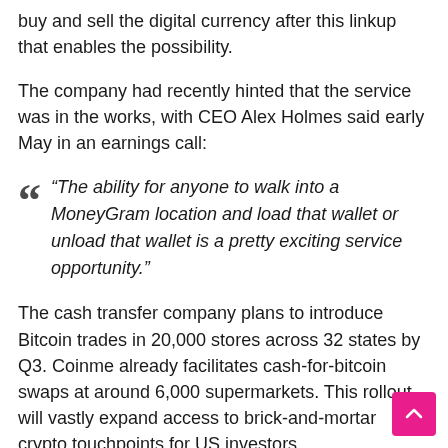buy and sell the digital currency after this linkup that enables the possibility.
The company had recently hinted that the service was in the works, with CEO Alex Holmes said early May in an earnings call:
“The ability for anyone to walk into a MoneyGram location and load that wallet or unload that wallet is a pretty exciting service opportunity.”
The cash transfer company plans to introduce Bitcoin trades in 20,000 stores across 32 states by Q3. Coinme already facilitates cash-for-bitcoin swaps at around 6,000 supermarkets. This rollout will vastly expand access to brick-and-mortar crypto touchpoints for US investors.
As Coin ATM Radar notes, fewer than 3,000 crypto